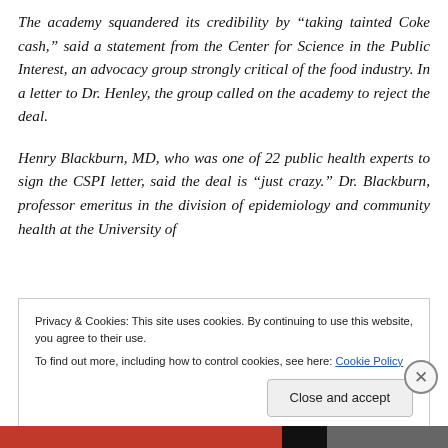The academy squandered its credibility by “taking tainted Coke cash,” said a statement from the Center for Science in the Public Interest, an advocacy group strongly critical of the food industry. In a letter to Dr. Henley, the group called on the academy to reject the deal.
Henry Blackburn, MD, who was one of 22 public health experts to sign the CSPI letter, said the deal is “just crazy.” Dr. Blackburn, professor emeritus in the division of epidemiology and community health at the University of
Privacy & Cookies: This site uses cookies. By continuing to use this website, you agree to their use.
To find out more, including how to control cookies, see here: Cookie Policy
Close and accept